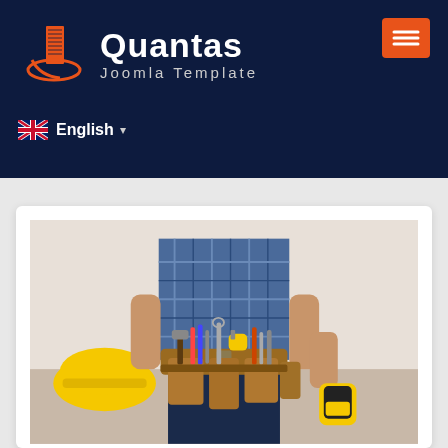[Figure (logo): Quantas Joomla Template logo with orange building/construction icon on dark navy background header, with hamburger menu button in orange]
English
[Figure (photo): A construction worker from waist down wearing a leather tool belt filled with various tools including hammer, screwdrivers, wrenches, tape measure. Yellow hard hat visible on left. Worker wearing plaid blue shirt and dark jeans.]